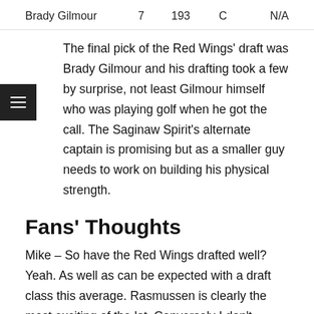| Name | Round | Pick | Pos | Rating |
| --- | --- | --- | --- | --- |
| Brady Gilmour | 7 | 193 | C | N/A |
The final pick of the Red Wings' draft was Brady Gilmour and his drafting took a few by surprise, not least Gilmour himself who was playing golf when he got the call. The Saginaw Spirit's alternate captain is promising but as a smaller guy needs to work on building his physical strength.
Fans' Thoughts
Mike – So have the Red Wings drafted well? Yeah. As well as can be expected with a draft class this average. Rasmussen is clearly the most exciting of the lot. Conversely I don't expect to see Webb get ice-time in the NHL. Setkov is an absolute unknown quantity so the jury